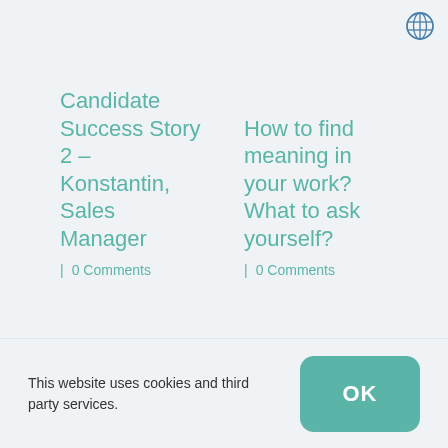[Figure (illustration): Globe/language icon in top right corner]
Candidate Success Story 2 – Konstantin, Sales Manager
| 0 Comments
How to find meaning in your work? What to ask yourself?
| 0 Comments
This website uses cookies and third party services.